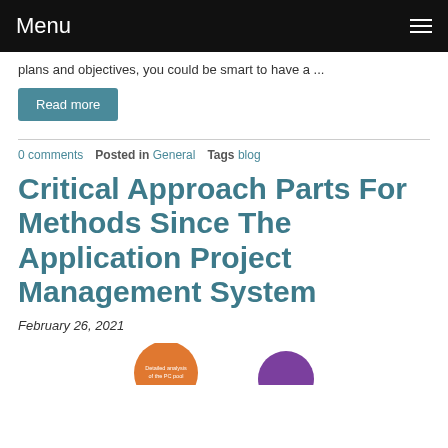Menu
plans and objectives, you could be smart to have a ...
Read more
0 comments  Posted in General  Tags blog
Critical Approach Parts For Methods Since The Application Project Management System
February 26, 2021
[Figure (illustration): Two partially visible circles: an orange circle with text 'Detailed analysis of the PC pool' and a purple circle, cropped at the bottom of the page.]